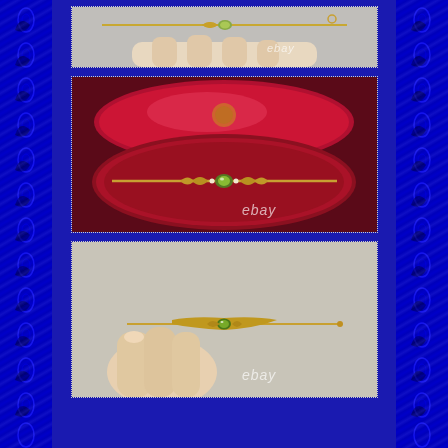[Figure (photo): Close-up photo of antique gold brooch with green peridot stone, cropped top view, with 'ebay' watermark]
[Figure (photo): Antique gold bar brooch with central green peridot stone and leaf design, displayed in an open oval red velvet jewelry box, with 'ebay' watermark]
[Figure (photo): Antique gold bar brooch with green peridot stone held between fingers against gray background, with 'ebay' watermark]